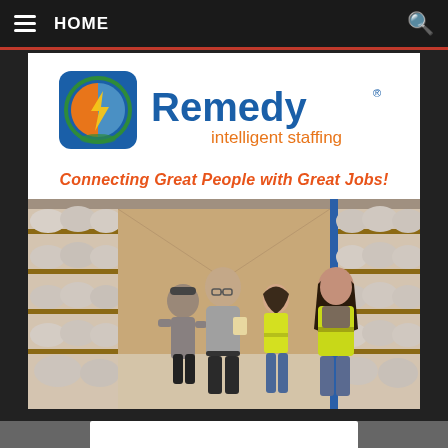HOME
[Figure (logo): Remedy Intelligent Staffing logo with stylized head icon and company name]
Connecting Great People with Great Jobs!
[Figure (photo): Four warehouse workers standing in a warehouse aisle with shelves stocked with bagged goods on both sides; two workers wearing yellow safety vests]